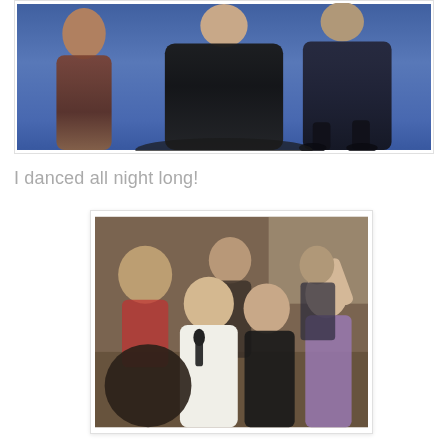[Figure (photo): Photo of people on a blue carpet at what appears to be a formal event. A woman in a black gown is in the center, a person in brown clothing on the left, and a person in a dark suit on the right.]
I danced all night long!
[Figure (photo): Photo of people at what appears to be a dinner or gala event. A man in a white shirt holds a microphone, a woman in black smiles beside him, and other guests are visible including a woman in purple raising her arm.]